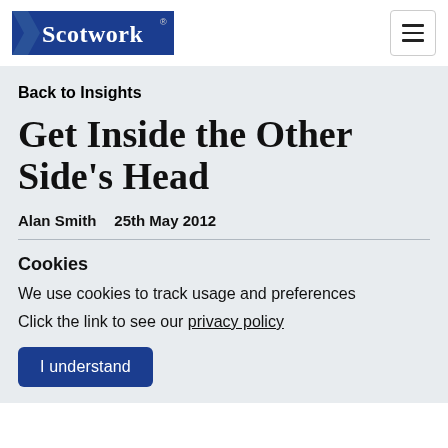Scotwork
Back to Insights
Get Inside the Other Side's Head
Alan Smith   25th May 2012
Cookies
We use cookies to track usage and preferences
Click the link to see our privacy policy
I understand